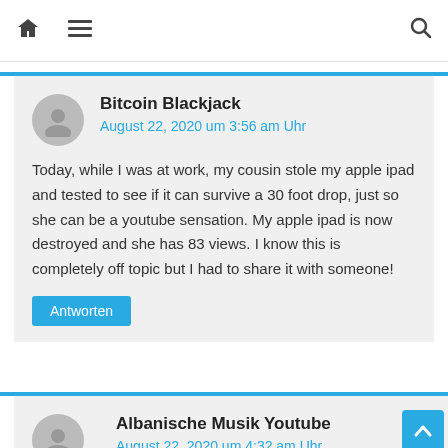🏠 ☰ 🔍
Bitcoin Blackjack
August 22, 2020 um 3:56 am Uhr
Today, while I was at work, my cousin stole my apple ipad and tested to see if it can survive a 30 foot drop, just so she can be a youtube sensation. My apple ipad is now destroyed and she has 83 views. I know this is completely off topic but I had to share it with someone!
Antworten
Albanische Musik Youtube
August 22, 2020 um 4:32 am Uhr